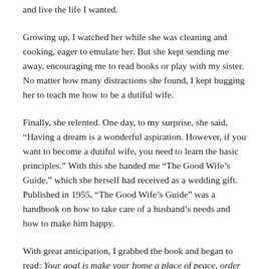and live the life I wanted.
Growing up, I watched her while she was cleaning and cooking, eager to emulate her. But she kept sending me away, encouraging me to read books or play with my sister. No matter how many distractions she found, I kept bugging her to teach me how to be a dutiful wife.
Finally, she relented. One day, to my surprise, she said, “Having a dream is a wonderful aspiration. However, if you want to become a dutiful wife, you need to learn the basic principles.” With this she handed me “The Good Wife’s Guide,” which she herself had received as a wedding gift. Published in 1955, “The Good Wife’s Guide” was a handbook on how to take care of a husband’s needs and how to make him happy.
With great anticipation, I grabbed the book and began to read: Your goal is make your home a place of peace, order and tranquility... a place where your husband can renew himself in